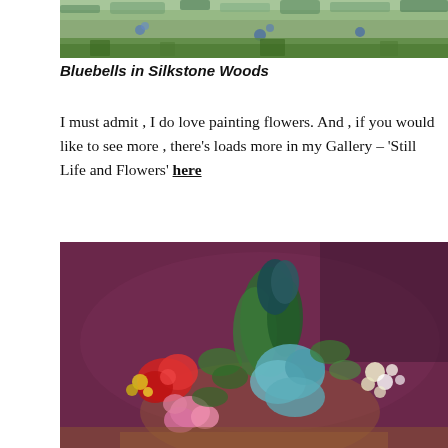[Figure (photo): Top portion of a painting showing bluebells in Silkstone Woods — impressionistic landscape with blue and green tones]
Bluebells in Silkstone Woods
I must admit , I do love painting flowers. And , if you would like to see more , there's loads more in my Gallery – 'Still Life and Flowers' here
[Figure (photo): Oil painting of a mixed floral bouquet — red, pink, blue, and white flowers with green leaves against a dark purple-brown background]